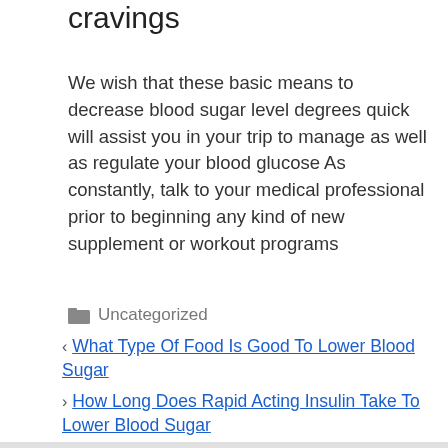cravings
We wish that these basic means to decrease blood sugar level degrees quick will assist you in your trip to manage as well as regulate your blood glucose As constantly, talk to your medical professional prior to beginning any kind of new supplement or workout programs
Uncategorized
What Type Of Food Is Good To Lower Blood Sugar
How Long Does Rapid Acting Insulin Take To Lower Blood Sugar